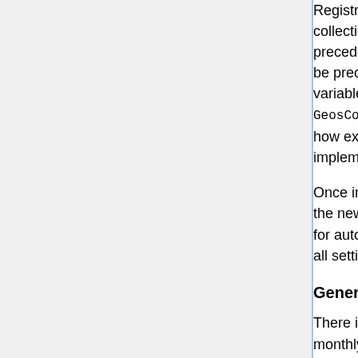Registry may be included as fields in a collection. State_Met variables must be preceded by "met_", State_Chm variables must be preceded by "chm_", and State_Diag variables should not have a prefix. See GeosCore/state_diag_mod.F90 for examples of how existing State_Diag arrays are implemented.
Once implemented, you can either incorporate the new collection settings into runConfig.sh for auto-update, or you can manually configure all settings in HISTORY.rc.
Generate Monthly Mean Diagnostics
There is an option to automatically generate monthly diagnostics by submitting month-long simulations as separate jobs. Splitting up the simulation